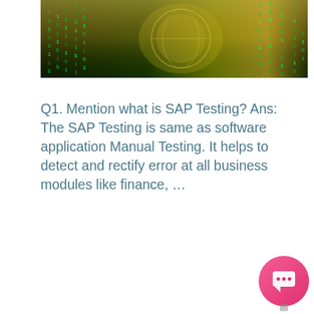[Figure (photo): Green and gold matrix-style digital background with cascading code characters]
Q1. Mention what is SAP Testing? Ans: The SAP Testing is same as software application Manual Testing. It helps to detect and rectify error at all business modules like finance, …
READ MORE >
Topics:  SAP TESTING Inter…
Information Technologies (I…
[Figure (screenshot): Chat popup widget with globe icon and close X button, showing message: Got any questions? We're happy to help. Pink circular chat button at bottom right.]